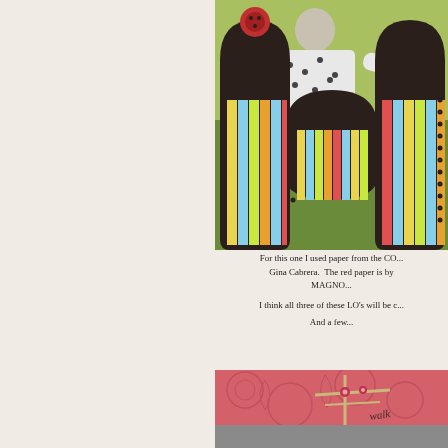[Figure (photo): Scrapbook layout showing a child standing behind large dark number cutouts with colorful striped paper. The child is wearing a black and white patterned dress. The background shows green grass. The number cutouts have dotted borders and colorful vertical stripes inside them.]
For this one I used paper from the CO... Gina Cabrera.  The red paper is by ... MAGNO...
I think all three of these LO's will be c...
And a few...
[Figure (photo): Scrapbook card or layout with pink floral embossed background, decorative cross made of sticks/twigs with small red flower embellishments, gray bottom section, and cursive handwriting that reads 'walk']